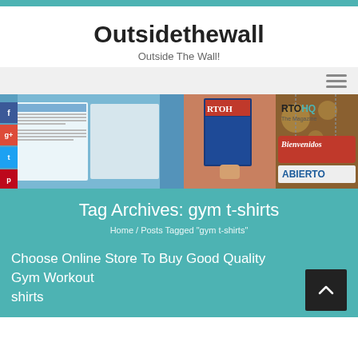Outsidethewall — Outside The Wall!
Outsidethewall
Outside The Wall!
[Figure (screenshot): Hero banner showing three magazine/book images: open book with blue cover, person holding RTOHQ magazine, and a store sign reading Bienvenidos Abierto]
Tag Archives: gym t-shirts
Home / Posts Tagged "gym t-shirts"
Choose Online Store To Buy Good Quality Gym Workout shirts